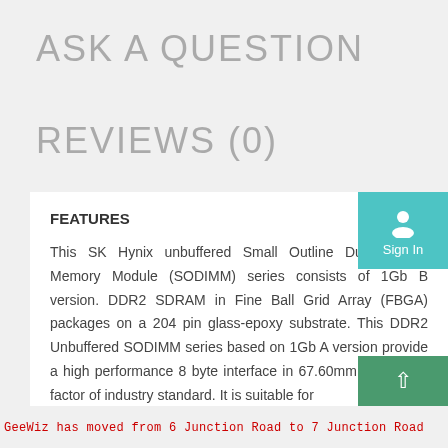ASK A QUESTION
REVIEWS (0)
FEATURES
This SK Hynix unbuffered Small Outline Dual In-Line Memory Module (SODIMM) series consists of 1Gb B version. DDR2 SDRAM in Fine Ball Grid Array (FBGA) packages on a 204 pin glass-epoxy substrate. This DDR2 Unbuffered SODIMM series based on 1Gb A version provide a high performance 8 byte interface in 67.60mm width form factor of industry standard. It is suitable for
GeeWiz has moved from 6 Junction Road to 7 Junction Road